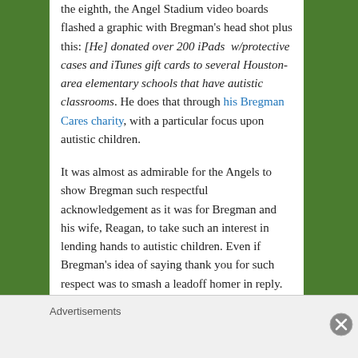the eighth, the Angel Stadium video boards flashed a graphic with Bregman's head shot plus this: [He] donated over 200 iPads w/protective cases and iTunes gift cards to several Houston-area elementary schools that have autistic classrooms. He does that through his Bregman Cares charity, with a particular focus upon autistic children.
It was almost as admirable for the Angels to show Bregman such respectful acknowledgement as it was for Bregman and his wife, Reagan, to take such an interest in lending hands to autistic children. Even if Bregman's idea of saying thank you for such respect was to smash a leadoff homer in reply.
Posted in Baseball | Tagged Alex Bregman, Anthony Rendon, Brandon Marsh, David Fletcher, Dusty Baker, Framber Valdez, Houston Astros, Jeremy Peña, Jo Adell
Advertisements